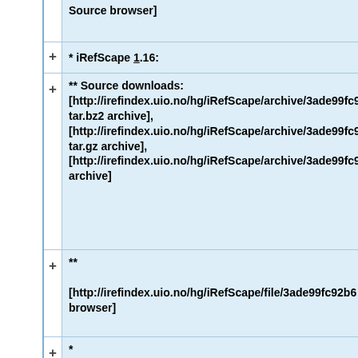Source browser]
* iRefScape 1.16:
** Source downloads: [http://irefindex.uio.no/hg/iRefScape/archive/3ade99fc92b6.tar.bz2 tar.bz2 archive], [http://irefindex.uio.no/hg/iRefScape/archive/3ade99fc92b6.tar.gz tar.gz archive], [http://irefindex.uio.no/hg/iRefScape/archive/3ade99fc92b6.zip zip archive]
** [http://irefindex.uio.no/hg/iRefScape/file/3ade99fc92b6 Source browser]
* [http://irefindex.uio.no/hg/iRefScape/ iRefScape repository home]